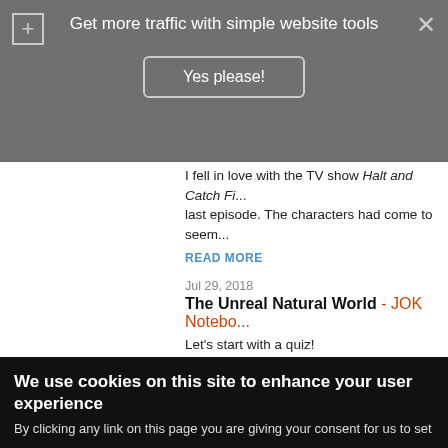Get more traffic with simple website tools
Yes please!
I fell in love with the TV show Halt and Catch Fi... last episode. The characters had come to seem...
READ MORE
Jul 29, 2018
The Unreal Natural World - JOK Notebo...
Let's start with a quiz!
What could the following words mean:
1. 焼酎 (しょうちゅう)   ...
READ MORE
Jul 22, 2018
Gathering Up the Lees - JOK Notebook...
I just came out with essay 2066 on 焼 (shochu), a brilliant way of repurposing...
READ MORE
We use cookies on this site to enhance your user experience
By clicking any link on this page you are giving your consent for us to set